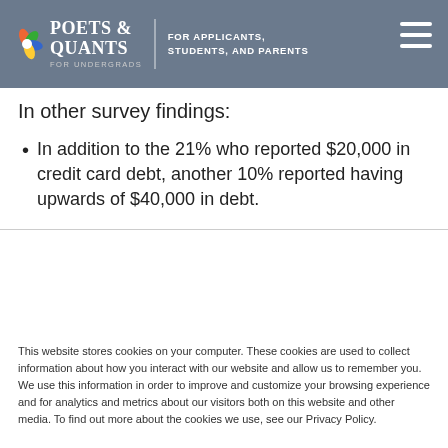POETS & QUANTS FOR UNDERGRADS — FOR APPLICANTS, STUDENTS, AND PARENTS
In other survey findings:
In addition to the 21% who reported $20,000 in credit card debt, another 10% reported having upwards of $40,000 in debt.
This website stores cookies on your computer. These cookies are used to collect information about how you interact with our website and allow us to remember you. We use this information in order to improve and customize your browsing experience and for analytics and metrics about our visitors both on this website and other media. To find out more about the cookies we use, see our Privacy Policy.
If you decline, your information won't be tracked when you visit this website. A single cookie will be used in your browser to remember your preference not to be tracked.